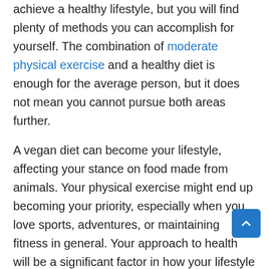achieve a healthy lifestyle, but you will find plenty of methods you can accomplish for yourself. The combination of moderate physical exercise and a healthy diet is enough for the average person, but it does not mean you cannot pursue both areas further.
A vegan diet can become your lifestyle, affecting your stance on food made from animals. Your physical exercise might end up becoming your priority, especially when you love sports, adventures, or maintaining fitness in general. Your approach to health will be a significant factor in how your lifestyle pans out, making it one of the areas you can control for your way of life.
Home Setting
People spend a lot of time indoors, making it one of the most influential locations in your life. You will find that there will always be differences between homeowners. Some might not stand clutter and waste, while others feel